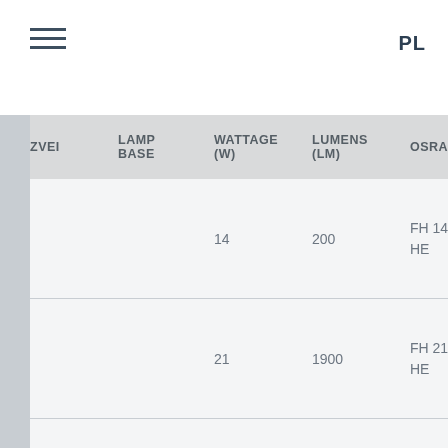PL
| ZVEI | LAMP BASE | WATTAGE (W) | LUMENS (lm) | OSRAM | PH… |
| --- | --- | --- | --- | --- | --- |
|  |  | 14 | 200 | FH 14W HE | M TI 14… |
|  |  | 21 | 1900 | FH 21W HE | M TI 21… |
|  |  | 28 | 2600 | FH 28W HE | M TI 28… |